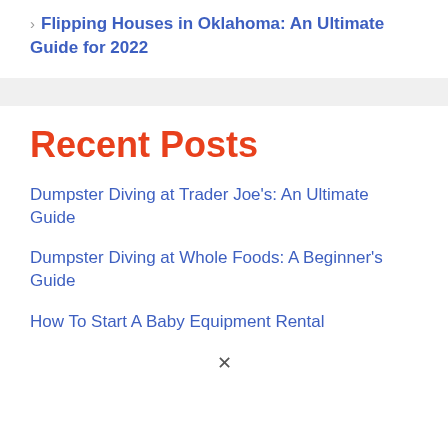› Flipping Houses in Oklahoma: An Ultimate Guide for 2022
Recent Posts
Dumpster Diving at Trader Joe's: An Ultimate Guide
Dumpster Diving at Whole Foods: A Beginner's Guide
How To Start A Baby Equipment Rental